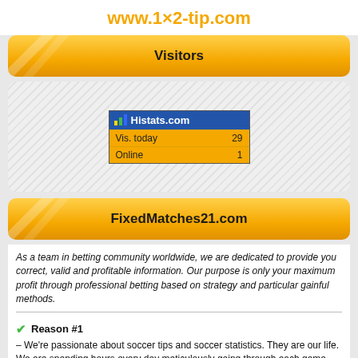www.1×2-tip.com
Visitors
[Figure (screenshot): Histats.com widget showing: Vis. today 29, Online 1]
FixedMatches21.com
As a team in betting community worldwide, we are dedicated to provide you correct, valid and profitable information. Our purpose is only your maximum profit through professional betting based on strategy and particular gainful methods.
Reason #1 – We're passionate about soccer tips and soccer statistics. They are our life. We are spending hours every day meticulously going through each game, examining every possible circumstance surrounding the games, injury players, playing condition, historical trends, and a mountain of other vital statistics trying to determine the result of the game.